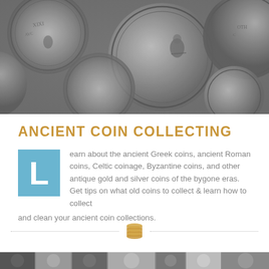[Figure (photo): Black and white close-up photograph of ancient coins with engravings of figures and inscriptions]
ANCIENT COIN COLLECTING
Learn about the ancient Greek coins, ancient Roman coins, Celtic coinage, Byzantine coins, and other antique gold and silver coins of the bygone eras. Get tips on what old coins to collect & learn how to collect and clean your ancient coin collections.
[Figure (illustration): Decorative dotted line divider with a stack of coins icon in the center]
[Figure (photo): Bottom strip showing a row of ancient coin images, partially cropped]